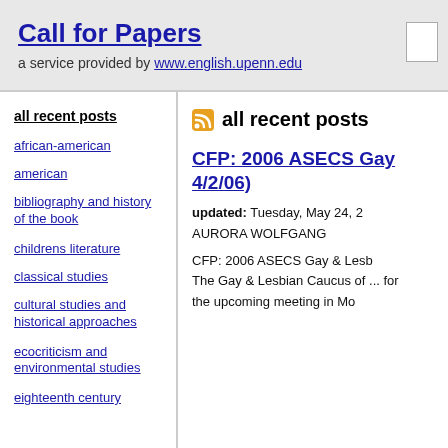Call for Papers
a service provided by www.english.upenn.edu
all recent posts
african-american
american
bibliography and history of the book
childrens literature
classical studies
cultural studies and historical approaches
ecocriticism and environmental studies
eighteenth century
all recent posts
CFP: 2006 ASECS Gay... 4/2/06)
updated: Tuesday, May 24, 2...
AURORA WOLFGANG
CFP: 2006 ASECS Gay & Lesb...
The Gay & Lesbian Caucus of ... for
the upcoming meeting in Mo...